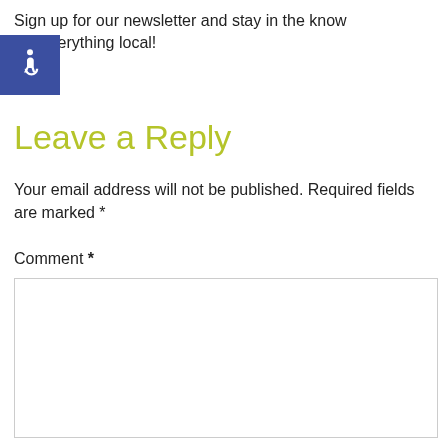Sign up for our newsletter and stay in the know on everything local!
[Figure (illustration): Accessibility icon — white wheelchair symbol on blue square background]
Leave a Reply
Your email address will not be published. Required fields are marked *
Comment *